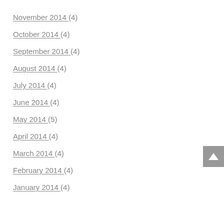November 2014 (4)
October 2014 (4)
September 2014 (4)
August 2014 (4)
July 2014 (4)
June 2014 (4)
May 2014 (5)
April 2014 (4)
March 2014 (4)
February 2014 (4)
January 2014 (4)